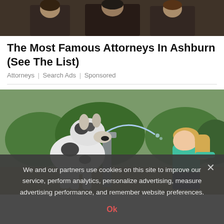[Figure (photo): Cropped photo of people (attorneys) seated together, visible from waist down, dark clothing and chairs.]
The Most Famous Attorneys In Ashburn (See The List)
Attorneys | Search Ads | Sponsored
[Figure (photo): A large Great Dane dog standing on its hind legs at a public water fountain, while a young girl with blonde hair leans in to drink from the other side. Green trees in background.]
We and our partners use cookies on this site to improve our service, perform analytics, personalize advertising, measure advertising performance, and remember website preferences.